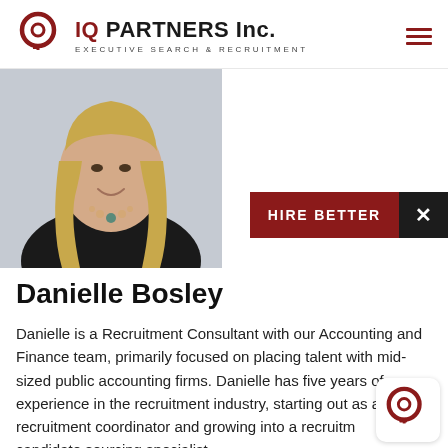IQ PARTNERS Inc. EXECUTIVE SEARCH & RECRUITMENT
[Figure (photo): Portrait photo of Danielle Bosley, a woman with long blonde hair wearing a black top and beaded necklace, smiling against a light grey background]
[Figure (infographic): Red banner reading HIRE BETTER with a black X button beside it]
Danielle Bosley
Danielle is a Recruitment Consultant with our Accounting and Finance team, primarily focused on placing talent with mid-sized public accounting firms. Danielle has five years of experience in the recruitment industry, starting out as a recruitment coordinator and growing into a recruitment and candidate sourcing specialist.
[Figure (logo): IQ Partners circular logo watermark in dark red at bottom right]